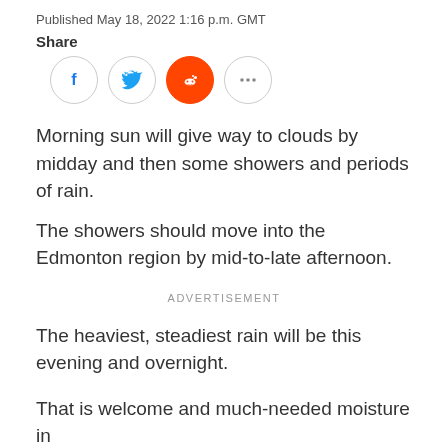Published May 18, 2022 1:16 p.m. GMT
Share
[Figure (other): Social share buttons: Facebook, Twitter, Reddit, More (...)]
Morning sun will give way to clouds by midday and then some showers and periods of rain.
The showers should move into the Edmonton region by mid-to-late afternoon.
ADVERTISEMENT
The heaviest, steadiest rain will be this evening and overnight.
That is welcome and much-needed moisture in